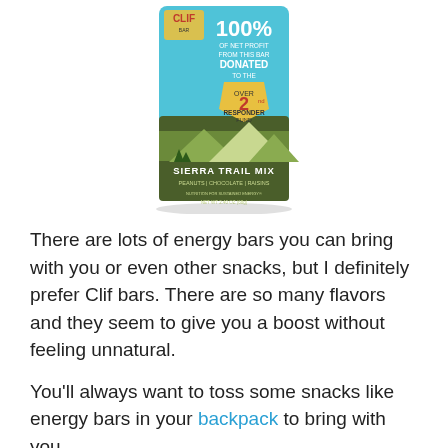[Figure (photo): A CLIF BAR Sierra Trail Mix energy bar wrapper. The wrapper is teal/blue on top showing '100% OF NET PROFIT FROM THIS BAR DONATED TO THE 2nd RESPONDER FUND' and olive/dark green on the bottom showing 'SIERRA TRAIL MIX PEANUTS | CHOCOLATE | RAISINS' with mountains and trees illustrated on the package.]
There are lots of energy bars you can bring with you or even other snacks, but I definitely prefer Clif bars.  There are so many flavors and they seem to give you a boost without feeling unnatural.
You'll always want to toss some snacks like energy bars in your backpack to bring with you.
18.  Sunscreen